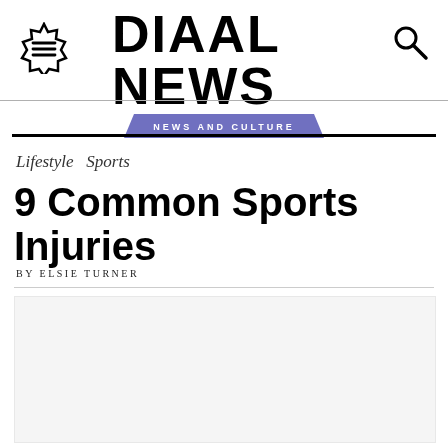DIAAL NEWS — NEWS AND CULTURE
Lifestyle Sports
9 Common Sports Injuries
BY ELSIE TURNER
[Figure (photo): Article hero image placeholder — light gray rectangle]